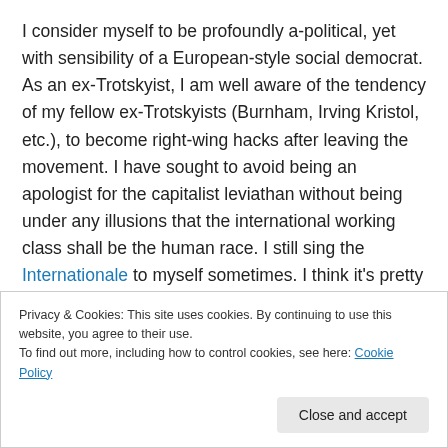I consider myself to be profoundly a-political, yet with sensibility of a European-style social democrat. As an ex-Trotskyist, I am well aware of the tendency of my fellow ex-Trotskyists (Burnham, Irving Kristol, etc.), to become right-wing hacks after leaving the movement. I have sought to avoid being an apologist for the capitalist leviathan without being under any illusions that the international working class shall be the human race. I still sing the Internationale to myself sometimes. I think it's pretty catchy, especially if you can sing it in three
Privacy & Cookies: This site uses cookies. By continuing to use this website, you agree to their use. To find out more, including how to control cookies, see here: Cookie Policy